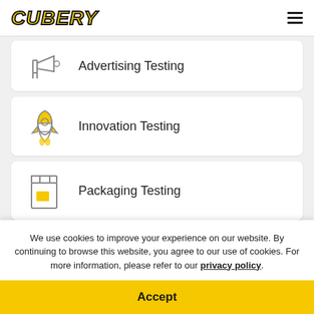[Figure (logo): CUBERY logo in yellow bold italic text with black stroke]
Advertising Testing
Innovation Testing
Packaging Testing
We use cookies to improve your experience on our website. By continuing to browse this website, you agree to our use of cookies. For more information, please refer to our privacy policy.
Accept